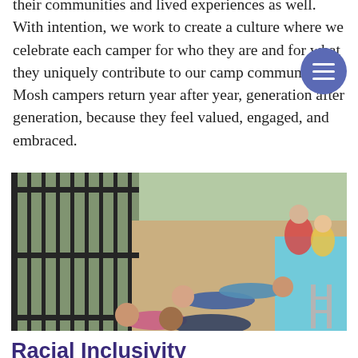their communities and lived experiences as well. With intention, we work to create a culture where we celebrate each camper for who they are and for what they uniquely contribute to our camp community. Mosh campers return year after year, generation after generation, because they feel valued, engaged, and embraced.
[Figure (photo): Children lying and posing by a pool, smiling at the camera, with a black metal fence in the background and a pool with other children visible to the right.]
Racial Inclusivity
Like the broader Jewish community, the Mosh camper cohort is becoming more racially diverse. We celebrate the experiences and histories that make all of